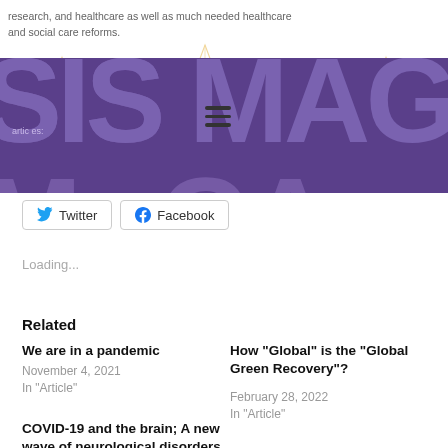research, and healthcare as well as much needed healthcare and social care reforms.
[Figure (logo): ISIS MAGA magazine logo in large purple letters with gold ornamental background design and hamburger menu icon]
[Figure (screenshot): Social share buttons: Twitter and Facebook]
Loading...
Related
We are in a pandemic
November 4, 2021
In "Article"
How “Global” is the “Global Green Recovery”?
February 28, 2022
In "Article"
COVID-19 and the brain; A new wave of neurological disorders